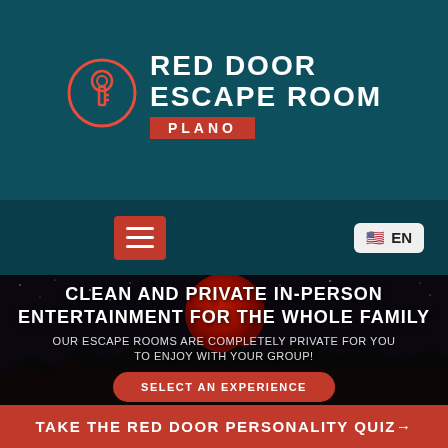[Figure (logo): Red Door Escape Room Plano logo with keyhole icon on teal background]
[Figure (other): Navigation bar with red hamburger menu button and EN language selector on dark teal background]
[Figure (photo): Hero image showing a large red moon over dark rocky landscape with starry sky]
CLEAN AND PRIVATE IN-PERSON ENTERTAINMENT FOR THE WHOLE FAMILY
OUR ESCAPE ROOMS ARE COMPLETELY PRIVATE FOR YOU TO ENJOY WITH YOUR GROUP!
SELECT AN EXPERIENCE
TAKE THE RED DOOR PERSONALITY QUIZ→